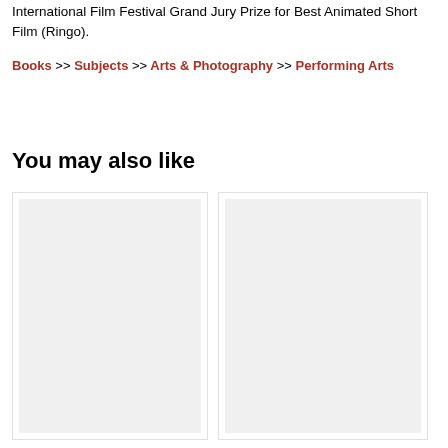International Film Festival Grand Jury Prize for Best Animated Short Film (Ringo).
Books >> Subjects >> Arts & Photography >> Performing Arts
You may also like
[Figure (other): Two placeholder book cover images side by side]
[Figure (other): Second placeholder book cover image]